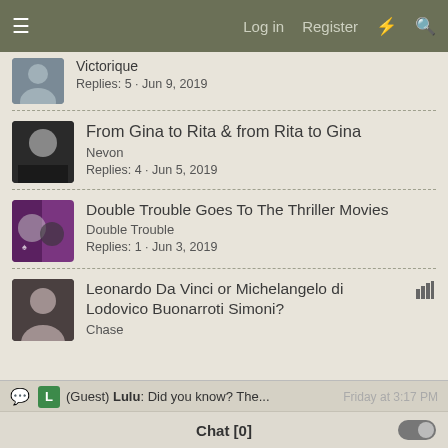Log in  Register
Victorique
Replies: 5 · Jun 9, 2019
From Gina to Rita & from Rita to Gina
Nevon
Replies: 4 · Jun 5, 2019
Double Trouble Goes To The Thriller Movies
Double Trouble
Replies: 1 · Jun 3, 2019
Leonardo Da Vinci or Michelangelo di Lodovico Buonarroti Simoni?
Chase
(Guest) Lulu: Did you know? The...  Friday at 3:17 PM
Chat [0]